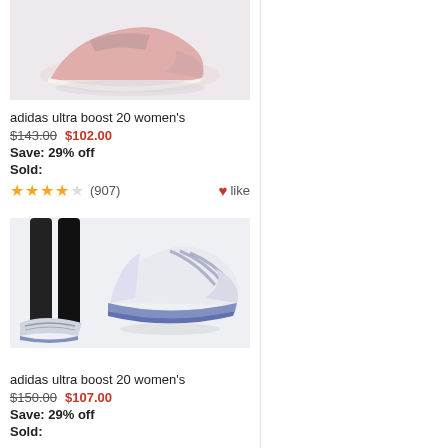[Figure (photo): Pink Adidas Ultra Boost 20 women's shoe on light grey background, top portion visible]
adidas ultra boost 20 women's
$143.00  $102.00
Save: 29% off
Sold:
★★★★☆ (907)  ♥like
[Figure (photo): Grey/white Adidas Ultra Boost 20 women's shoes shown on model and standalone on light background]
adidas ultra boost 20 women's
$150.00  $107.00
Save: 29% off
Sold: